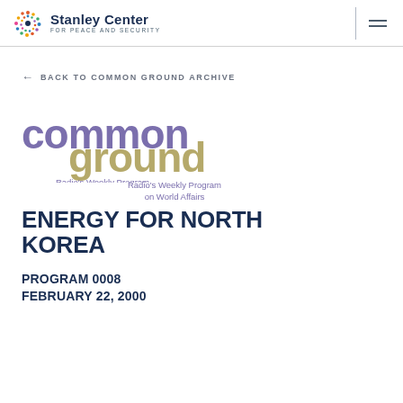Stanley Center FOR PEACE AND SECURITY
← BACK TO COMMON GROUND ARCHIVE
[Figure (logo): Common Ground logo — 'common' in purple and 'ground' in olive/tan, with tagline 'Radio's Weekly Program on World Affairs']
ENERGY FOR NORTH KOREA
PROGRAM 0008
FEBRUARY 22, 2000